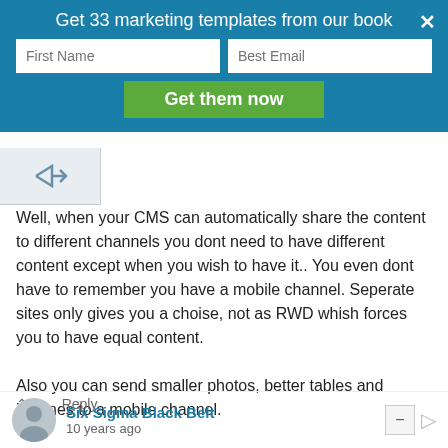[Figure (screenshot): Marketing banner overlay with teal background, 'Get 33 marketing templates from our book' heading, First Name and Best Email input fields, green 'Get them now' button, and an X close button.]
10 years ago
Well, when your CMS can automatically share the content to different channels you dont need to have different content except when you wish to have it.. You even dont have to remember you have a mobile channel. Seperate sites only gives you a choise, not as RWD whish forces you to have equal content.

Also you can send smaller photos, better tables and iFrames to a mobile channel.

So the clue is to choose a cms which automatically can hadle separate sites.
Reply
Six Sigma Black Belt
10 years ago